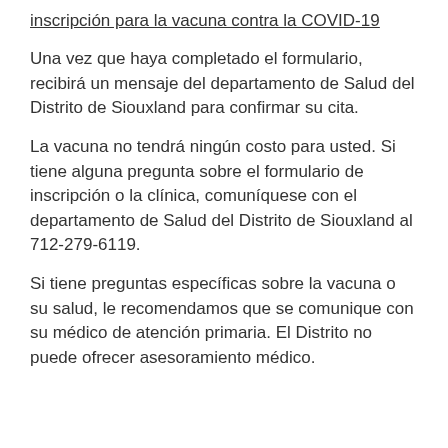inscripción para la vacuna contra la COVID-19
Una vez que haya completado el formulario, recibirá un mensaje del departamento de Salud del Distrito de Siouxland para confirmar su cita.
La vacuna no tendrá ningún costo para usted. Si tiene alguna pregunta sobre el formulario de inscripción o la clínica, comuníquese con el departamento de Salud del Distrito de Siouxland al 712-279-6119.
Si tiene preguntas específicas sobre la vacuna o su salud, le recomendamos que se comunique con su médico de atención primaria. El Distrito no puede ofrecer asesoramiento médico.